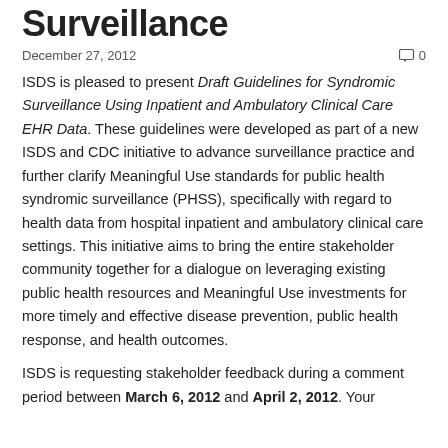Surveillance
December 27, 2012
ISDS is pleased to present Draft Guidelines for Syndromic Surveillance Using Inpatient and Ambulatory Clinical Care EHR Data. These guidelines were developed as part of a new ISDS and CDC initiative to advance surveillance practice and further clarify Meaningful Use standards for public health syndromic surveillance (PHSS), specifically with regard to health data from hospital inpatient and ambulatory clinical care settings. This initiative aims to bring the entire stakeholder community together for a dialogue on leveraging existing public health resources and Meaningful Use investments for more timely and effective disease prevention, public health response, and health outcomes.
ISDS is requesting stakeholder feedback during a comment period between March 6, 2012 and April 2, 2012. Your